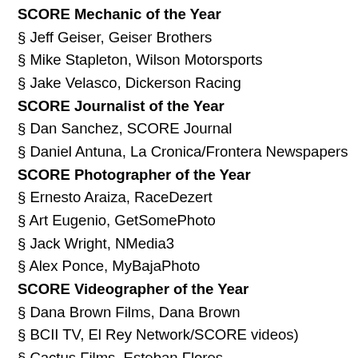SCORE Mechanic of the Year
§ Jeff Geiser, Geiser Brothers
§ Mike Stapleton, Wilson Motorsports
§ Jake Velasco, Dickerson Racing
SCORE Journalist of the Year
§ Dan Sanchez, SCORE Journal
§ Daniel Antuna, La Cronica/Frontera Newspapers
SCORE Photographer of the Year
§ Ernesto Araiza, RaceDezert
§ Art Eugenio, GetSomePhoto
§ Jack Wright, NMedia3
§ Alex Ponce, MyBajaPhoto
SCORE Videographer of the Year
§ Dana Brown Films, Dana Brown
§ BCII TV, El Rey Network/SCORE videos)
§ Cactus Films, Esteban Flores
SCORE Team Manager of the Year